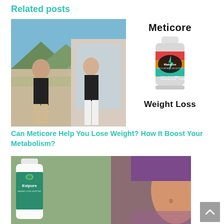Related posts
[Figure (photo): Composite image: left side shows two women outdoors exercising/checking waist; right side shows Meticore supplement bottle with 'Meticore' title and 'Weight Loss' text]
Can Meticore Help You Lose Weight? How It Boost Your Metabolism?
[Figure (photo): Exipure supplement bottle next to a woman showing her waist, on a green background]